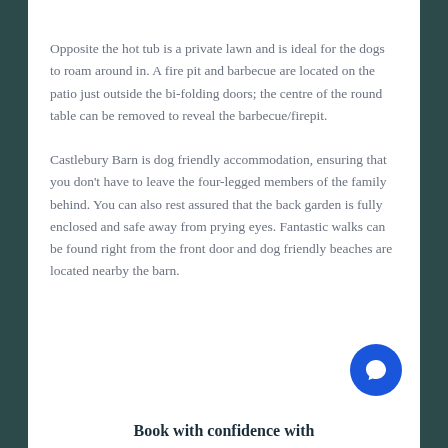Opposite the hot tub is a private lawn and is ideal for the dogs to roam around in. A fire pit and barbecue are located on the patio just outside the bi-folding doors; the centre of the round table can be removed to reveal the barbecue/firepit.
Castlebury Barn is dog friendly accommodation, ensuring that you don't have to leave the four-legged members of the family behind. You can also rest assured that the back garden is fully enclosed and safe away from prying eyes. Fantastic walks can be found right from the front door and dog friendly beaches are located nearby the barn.
[Figure (other): Blue circular chat/messaging button with a speech bubble icon]
Book with confidence with